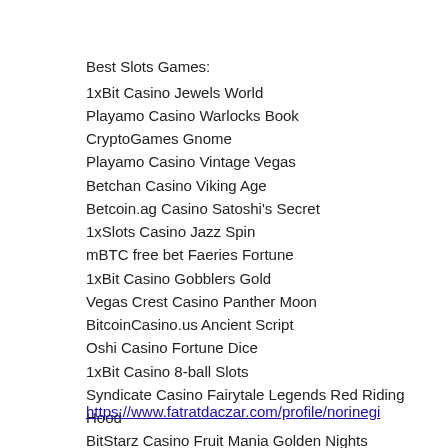Best Slots Games:
1xBit Casino Jewels World
Playamo Casino Warlocks Book
CryptoGames Gnome
Playamo Casino Vintage Vegas
Betchan Casino Viking Age
Betcoin.ag Casino Satoshi's Secret
1xSlots Casino Jazz Spin
mBTC free bet Faeries Fortune
1xBit Casino Gobblers Gold
Vegas Crest Casino Panther Moon
BitcoinCasino.us Ancient Script
Oshi Casino Fortune Dice
1xBit Casino 8-ball Slots
Syndicate Casino Fairytale Legends Red Riding Hood
BitStarz Casino Fruit Mania Golden Nights
https://www.fatratdaczar.com/profile/norinegi